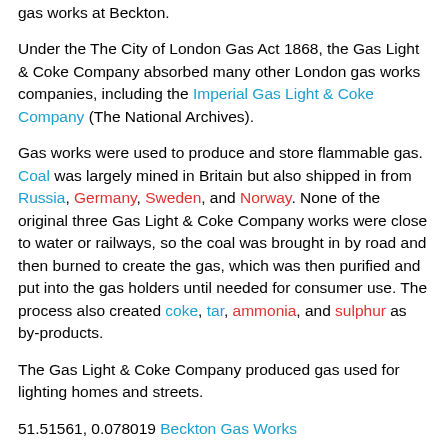gas works at Beckton.
Under the The City of London Gas Act 1868, the Gas Light & Coke Company absorbed many other London gas works companies, including the Imperial Gas Light & Coke Company (The National Archives).
Gas works were used to produce and store flammable gas. Coal was largely mined in Britain but also shipped in from Russia, Germany, Sweden, and Norway. None of the original three Gas Light & Coke Company works were close to water or railways, so the coal was brought in by road and then burned to create the gas, which was then purified and put into the gas holders until needed for consumer use. The process also created coke, tar, ammonia, and sulphur as by-products.
The Gas Light & Coke Company produced gas used for lighting homes and streets.
51.51561, 0.078019 Beckton Gas Works
51.49500, 0.13000 Great Peter Street Gas Works